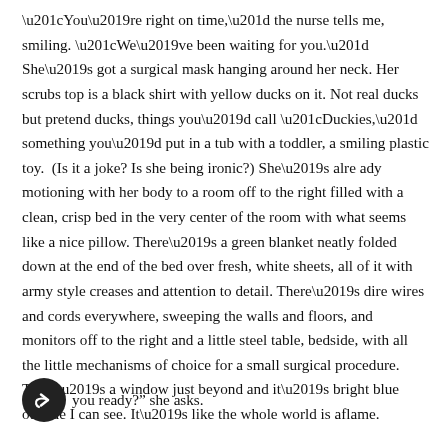“You’re right on time,” the nurse tells me, smiling. “We’ve been waiting for you.” She’s got a surgical mask hanging around her neck. Her scrubs top is a black shirt with yellow ducks on it. Not real ducks but pretend ducks, things you’d call “Duckies,” something you’d put in a tub with a toddler, a smiling plastic toy.  (Is it a joke? Is she being ironic?) She’s alre ady motioning with her body to a room off to the right filled with a clean, crisp bed in the very center of the room with what seems like a nice pillow. There’s a green blanket neatly folded down at the end of the bed over fresh, white sheets, all of it with army style creases and attention to detail. There’s dire wires and cords everywhere, sweeping the walls and floors, and monitors off to the right and a little steel table, bedside, with all the little mechanisms of choice for a small surgical procedure. There’s a window just beyond and it’s bright blue outside I can see. It’s like the whole world is aflame.
you ready?” she asks.